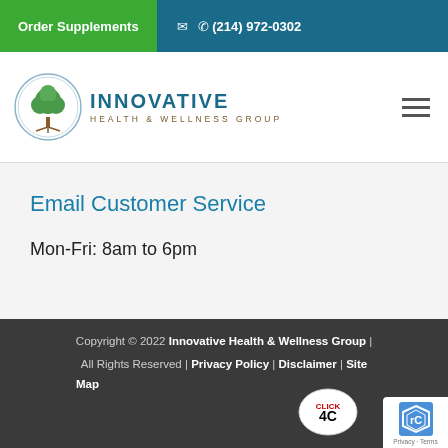Order Supplements  ✉  ☎ (214) 972-0302
[Figure (logo): Innovative Health & Wellness Group logo - circular tree emblem with text]
Email Customer Service
Mon-Fri: 8am to 6pm
Copyright © 2022 Innovative Health & Wellness Group | All Rights Reserved | Privacy Policy | Disclaimer | Site Map